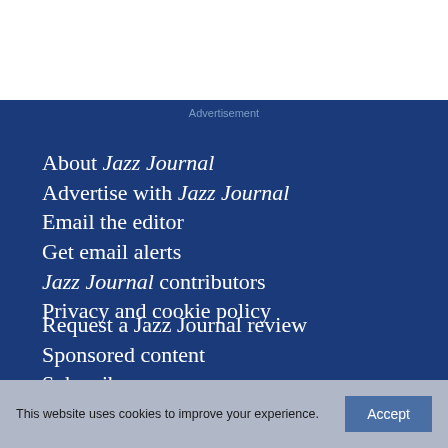Advertisement
About Jazz Journal
Advertise with Jazz Journal
Email the editor
Get email alerts
Jazz Journal contributors
Privacy and cookie policy
Request a Jazz Journal review
Sponsored content
Subscribe
This website uses cookies to improve your experience.